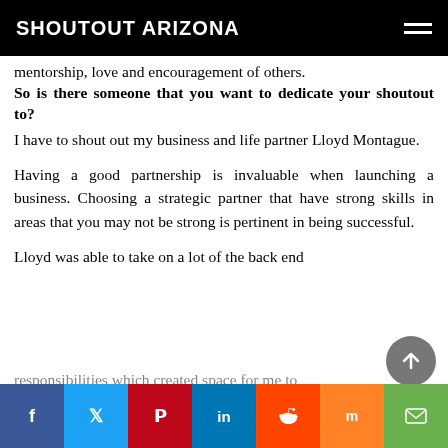SHOUTOUT ARIZONA
mentorship, love and encouragement of others.
So is there someone that you want to dedicate your shoutout to?
I have to shout out my business and life partner Lloyd Montague.
Having a good partnership is invaluable when launching a business. Choosing a strategic partner that have strong skills in areas that you may not be strong is pertinent in being successful.
Lloyd was able to take on a lot of the back end responsibilities which created space for me to focus on my real love which was jewelry design